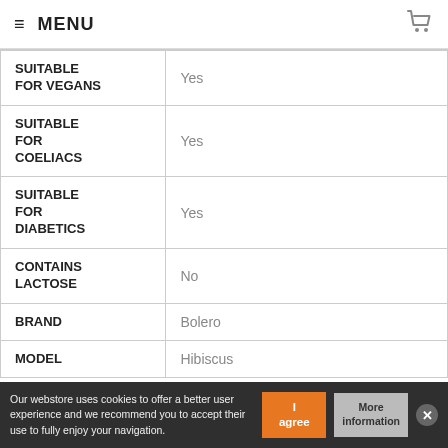≡ MENU
|  |  |
| --- | --- |
| SUITABLE FOR VEGANS | Yes |
| SUITABLE FOR COELIACS | Yes |
| SUITABLE FOR DIABETICS | Yes |
| CONTAINS LACTOSE | No |
| BRAND | Bolero |
| MODEL | Hibiscus |
Our webstore uses cookies to offer a better user experience and we recommend you to accept their use to fully enjoy your navigation.